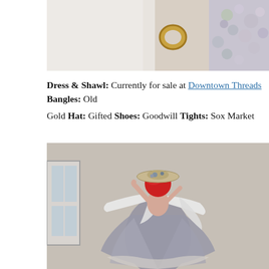[Figure (photo): Close-up photo showing a white shawl/veil with floral embroidery, a gold ring, and floral fabric detail.]
Dress & Shawl: Currently for sale at Downtown Threads Bangles: Old
Gold Hat: Gifted Shoes: Goodwill Tights: Sox Market
[Figure (photo): Woman with bright red hair wearing a floral hat, white shawl draped over a floral dress, spinning outdoors against a grey wall.]